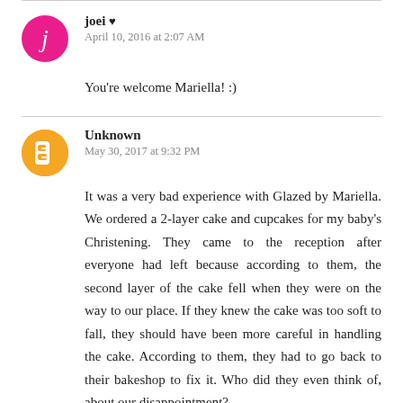joei ♥
April 10, 2016 at 2:07 AM
You're welcome Mariella! :)
Unknown
May 30, 2017 at 9:32 PM
It was a very bad experience with Glazed by Mariella. We ordered a 2-layer cake and cupcakes for my baby's Christening. They came to the reception after everyone had left because according to them, the second layer of the cake fell when they were on the way to our place. If they knew the cake was too soft to fall, they should have been more careful in handling the cake. According to them, they had to go back to their bakeshop to fix it. Who did they even think of, about our disappointment?